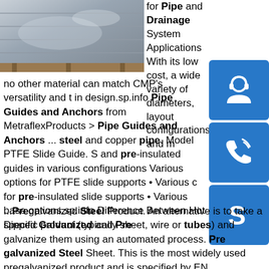[Figure (photo): Stacked galvanized steel sheets on wooden pallets, showing metallic sheen surface]
[Figure (illustration): Blue icon with headset/customer support symbol]
[Figure (illustration): Blue icon with phone/call symbol]
[Figure (illustration): Blue icon with Skype logo]
for Pipe and Drainage System Applications With its low cost, a wide variety of diameters, layout configurations, and m no other material can match CMP's versatility and t in design.sp.info Pipe Guides and Anchors from MetraflexProducts > Pipe Guides and Anchors ... steel and copper pipe. Model PTFE Slide Guide. S and pre-insulated guides in various configurations Various options for PTFE slide supports • Various c for pre-insulated slide supports • Various base options.sp.info Difference Between Hot Dipped Galvanized and Pre ...Pregalvanized Steel Product. An alternative is to take a specific product (typically sheet, wire or tubes) and galvanize them using an automated process. Pre galvanized Steel Sheet. This is the most widely used pregalvanized product and is specified by EN 10346.sp.info Carbon steel pipe price, Carbon steel pipe